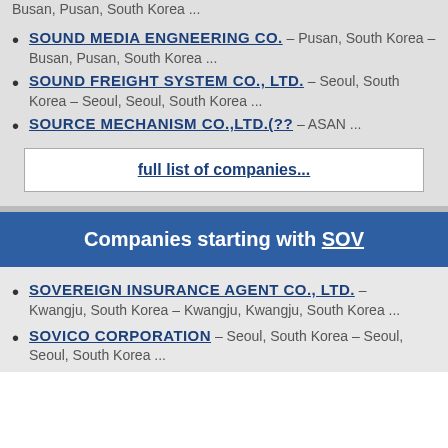Busan, Pusan, South Korea ...
SOUND MEDIA ENGNEERING CO. – Pusan, South Korea – Busan, Pusan, South Korea ...
SOUND FREIGHT SYSTEM CO., LTD. – Seoul, South Korea – Seoul, Seoul, South Korea ...
SOURCE MECHANISM CO.,LTD.(?? – ASAN ...
full list of companies...
Companies starting with SOV
SOVEREIGN INSURANCE AGENT CO., LTD. – Kwangju, South Korea – Kwangju, Kwangju, South Korea ...
SOVICO CORPORATION – Seoul, South Korea – Seoul, Seoul, South Korea ...